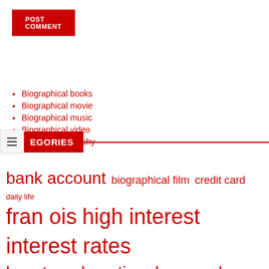POST COMMENT
CATEGORIES
Biographical books
Biographical movie
Biographical music
Biographical video
Business biography
bank account biographical film credit card daily life fran ois high interest interest rates long term long time los angeles men women payday lenders payday loans receive day registered receive short term social networks